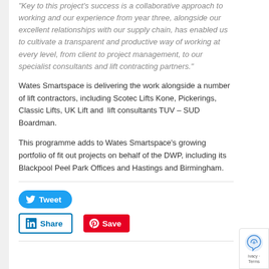"Key to this project's success is a collaborative approach to working and our experience from year three, alongside our excellent relationships with our supply chain, has enabled us to cultivate a transparent and productive way of working at every level, from client to project management, to our specialist consultants and lift contracting partners."
Wates Smartspace is delivering the work alongside a number of lift contractors, including Scotec Lifts Kone, Pickerings, Classic Lifts, UK Lift and lift consultants TUV – SUD Boardman.
This programme adds to Wates Smartspace's growing portfolio of fit out projects on behalf of the DWP, including its Blackpool Peel Park Offices and Hastings and Birmingham.
[Figure (other): Social sharing buttons: Tweet (Twitter/blue), Share (LinkedIn/blue outline), Save (Pinterest/red)]